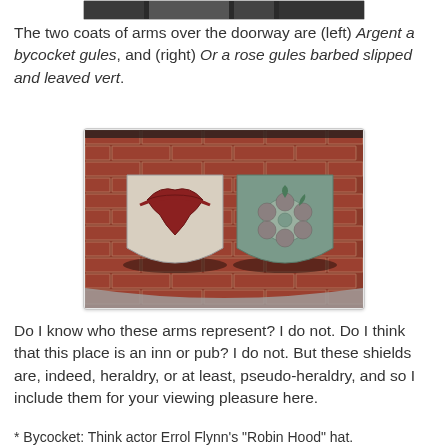[Figure (photo): Partial top of a photo showing what appears to be a building or doorway, cropped at the top of the page.]
The two coats of arms over the doorway are (left) Argent a bycocket gules, and (right) Or a rose gules barbed slipped and leaved vert.
[Figure (photo): Photo of two heraldic shields mounted on a brick wall. Left shield is white/silver (argent) with a red bycocket hat. Right shield shows a rose design on a teal/green background.]
Do I know who these arms represent? I do not. Do I think that this place is an inn or pub? I do not. But these shields are, indeed, heraldry, or at least, pseudo-heraldry, and so I include them for your viewing pleasure here.
* Bycocket: Think actor Errol Flynn's "Robin Hood" hat.